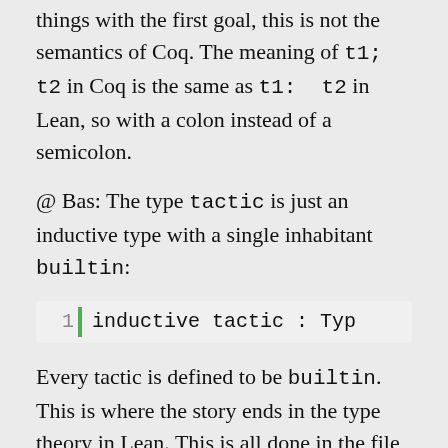things with the first goal, this is not the semantics of Coq. The meaning of t1; t2 in Coq is the same as t1: t2 in Lean, so with a colon instead of a semicolon.
@ Bas: The type tactic is just an inductive type with a single inhabitant builtin:
[Figure (screenshot): Code block showing: 1 | inductive tactic : Typ]
Every tactic is defined to be builtin. This is where the story ends in the type theory in Lean. This is all done in the file I linked to in my previous comment. On top of that there is some code associated